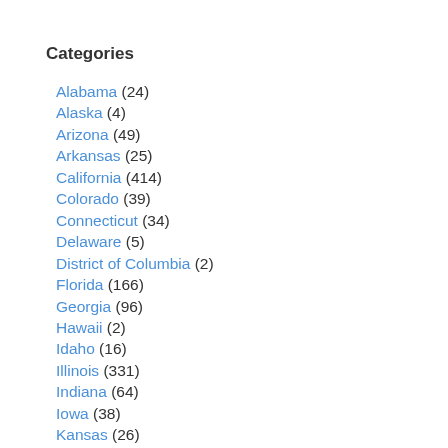Categories
Alabama (24)
Alaska (4)
Arizona (49)
Arkansas (25)
California (414)
Colorado (39)
Connecticut (34)
Delaware (5)
District of Columbia (2)
Florida (166)
Georgia (96)
Hawaii (2)
Idaho (16)
Illinois (331)
Indiana (64)
Iowa (38)
Kansas (26)
Kentucky (19)